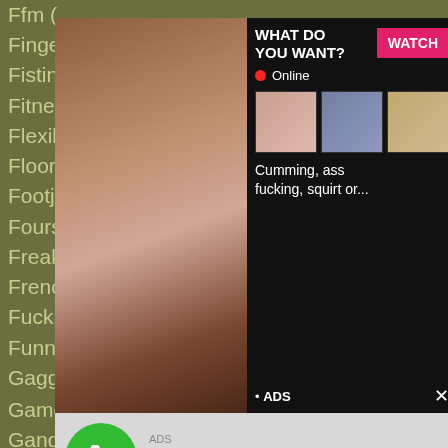Ffm (
Finge
Fistin
Fitnes
Flexib
Floor
Footjob (47)
Sybian (5)
Fours
Freak
Frenc
Fucki
Funny
Gagg
Game (40)
Teen (1691)
Gangbang (267)
Tgirl (31)
Gaping (163)
Thai (62)
Gay (127)
Thong (7)
[Figure (screenshot): Adult video advertisement overlay with black background showing 'WHAT DO YOU WANT?' text, WATCH button in pink, Online indicator, thumbnail images, and text 'Cumming, ass fucking, squirt or...' with ADS label]
[Figure (screenshot): Phone missed call advertisement overlay showing green phone icon, '(1)Missed Call from Eliza', 'pleeease call me back.. I miss you!', audio player controls, time 0:00 to 3:23]